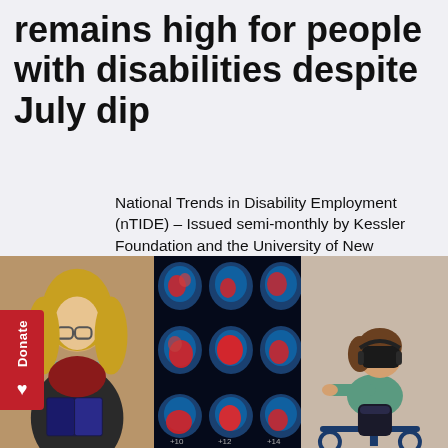remains high for people with disabilities despite July dip
National Trends in Disability Employment (nTIDE) – Issued semi-monthly by Kessler Foundation and the University of New Hampshire
Read More about nTide
[Figure (photo): Three side-by-side photos: left shows a woman with glasses and a scarf reading a book; center shows brain MRI scan images with colorful highlighted regions; right shows a woman wearing a VR headset sitting on an exercise bike]